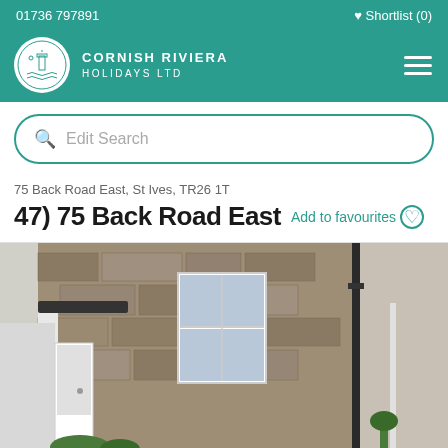01736 797891   ♥ Shortlist (0)
[Figure (logo): Cornish Riviera Holidays Ltd logo with circular emblem showing a lighthouse and sea scene, teal header with brand name]
Edit Search
75 Back Road East, St Ives, TR26 1T
47) 75 Back Road East
Add to favourites
[Figure (photo): Exterior photo of a stone cottage building with white-painted sash windows, black drainpipe on the right, with some green plants visible at the bottom. The building is made of rough Cornish granite stone.]